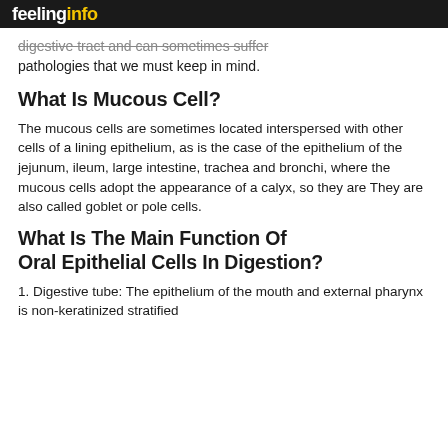feelinginfo
digestive tract and can sometimes suffer pathologies that we must keep in mind.
What Is Mucous Cell?
The mucous cells are sometimes located interspersed with other cells of a lining epithelium, as is the case of the epithelium of the jejunum, ileum, large intestine, trachea and bronchi, where the mucous cells adopt the appearance of a calyx, so they are They are also called goblet or pole cells.
What Is The Main Function Of Oral Epithelial Cells In Digestion?
1. Digestive tube: The epithelium of the mouth and external pharynx is non-keratinized stratified